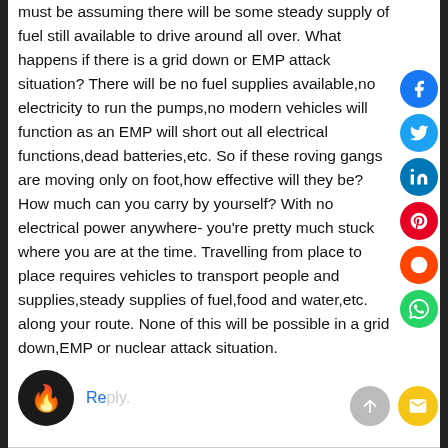must be assuming there will be some steady supply of fuel still available to drive around all over. What happens if there is a grid down or EMP attack situation? There will be no fuel supplies available,no electricity to run the pumps,no modern vehicles will function as an EMP will short out all electrical functions,dead batteries,etc. So if these roving gangs are moving only on foot,how effective will they be? How much can you carry by yourself? With no electrical power anywhere- you're pretty much stuck where you are at the time. Travelling from place to place requires vehicles to transport people and supplies,steady supplies of fuel,food and water,etc. along your route. None of this will be possible in a grid down,EMP or nuclear attack situation.
Reply.